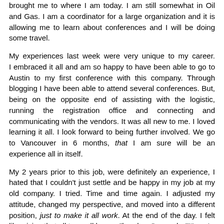brought me to where I am today. I am still somewhat in Oil and Gas. I am a coordinator for a large organization and it is allowing me to learn about conferences and I will be doing some travel.
My experiences last week were very unique to my career. I embraced it all and am so happy to have been able to go to Austin to my first conference with this company. Through blogging I have been able to attend several conferences. But, being on the opposite end of assisting with the logistic, running the registration office and connecting and communicating with the vendors. It was all new to me. I loved learning it all. I look forward to being further involved. We go to Vancouver in 6 months, that I am sure will be an experience all in itself.
My 2 years prior to this job, were definitely an experience, I hated that I couldn't just settle and be happy in my job at my old company. I tried. Time and time again. I adjusted my attitude, changed my perspective, and moved into a different position, just to make it all work. At the end of the day. I felt like giving that all too well known "break-up" speech, "It's not